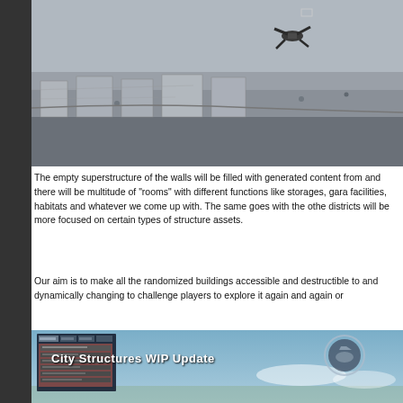[Figure (screenshot): 3D game environment screenshot showing a flying creature/robot over large snowy/grey wall superstructures from an aerial perspective]
The empty superstructure of the walls will be filled with generated content from and there will be multitude of "rooms" with different functions like storages, gara facilities, habitats and whatever we come up with. The same goes with the othe districts will be more focused on certain types of structure assets.
Our aim is to make all the randomized buildings accessible and destructible to and dynamically changing to challenge players to explore it again and again or
[Figure (screenshot): Game UI screenshot showing 'City Structures WIP Update' title overlay with game interface panels on the left and a circular icon on the right, background shows a blue sky environment]